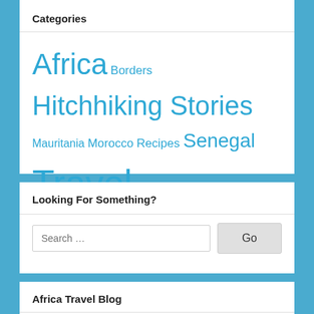Categories
Africa Borders Hitchhiking Stories Mauritania Morocco Recipes Senegal Travel
Looking For Something?
Search … Go
Africa Travel Blog